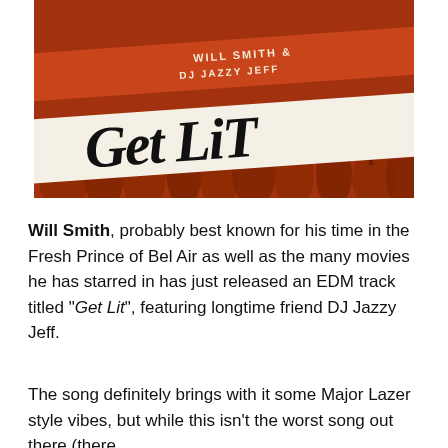[Figure (illustration): Album art for 'Get Lit' by Will Smith & DJ Jazzy Jeff. Orange/rust colored background with crowd silhouettes. A diagonal white band across the middle shows the title 'Get Lit' in large handwritten script. Above it, a smaller orange band shows 'WILL SMITH &' and 'DJ JAZZY JEFF' in uppercase lettering.]
Will Smith, probably best known for his time in the Fresh Prince of Bel Air as well as the many movies he has starred in has just released an EDM track titled "Get Lit", featuring longtime friend DJ Jazzy Jeff.
The song definitely brings with it some Major Lazer style vibes, but while this isn't the worst song out there (there